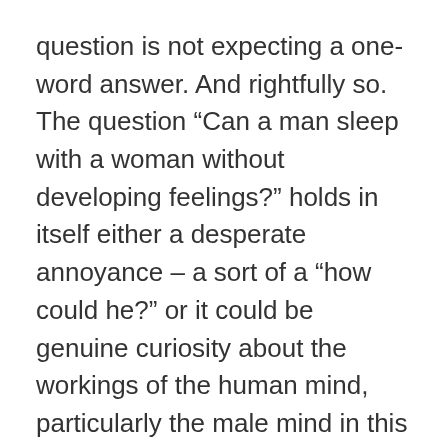question is not expecting a one-word answer. And rightfully so. The question “Can a man sleep with a woman without developing feelings?” holds in itself either a desperate annoyance – a sort of a “how could he?” or it could be genuine curiosity about the workings of the human mind, particularly the male mind in this case, in relation to casual sex.
The assumption that men are opportunistic and women are selective when it comes to who they sleep with is based on general observation. What has scientific backing is the fact that men and women are wired differently when it comes